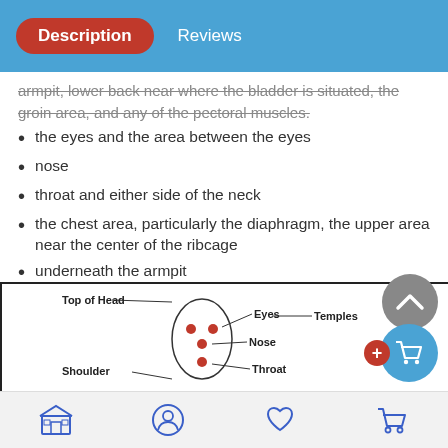Description | Reviews
armpit, lower back near where the bladder is situated, the groin area, and any of the pectoral muscles.
the eyes and the area between the eyes
nose
throat and either side of the neck
the chest area, particularly the diaphragm, the upper area near the center of the ribcage
underneath the armpit
pectoral muscles
lower back at the bladder
groin
[Figure (illustration): Anatomical diagram of a human face and head showing labeled points: Top of Head, Eyes, Temples, Shoulder, Nose, Throat]